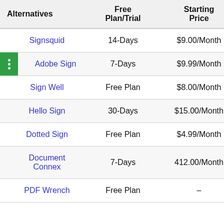| Alternatives | Free Plan/Trial | Starting Price | Rati… |
| --- | --- | --- | --- |
| Signsquid | 14-Days | $9.00/Month | 5.0/ |
| Adobe Sign | 7-Days | $9.99/Month | 4.4/ |
| Sign Well | Free Plan | $8.00/Month | 4.8/ |
| Hello Sign | 30-Days | $15.00/Month | 4.7/ |
| Dotted Sign | Free Plan | $4.99/Month | 5.0/ |
| Document Connex | 7-Days | 412.00/Month | 4.5/ |
| PDF Wrench | Free Plan | – |  |